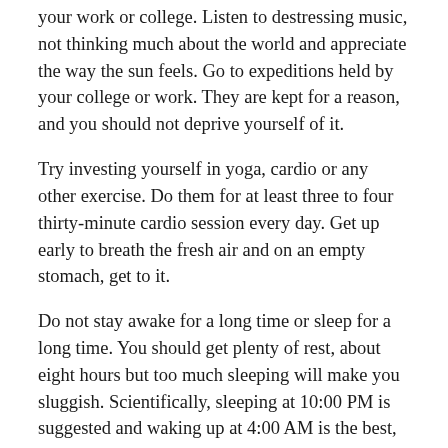your work or college. Listen to destressing music, not thinking much about the world and appreciate the way the sun feels. Go to expeditions held by your college or work. They are kept for a reason, and you should not deprive yourself of it.
Try investing yourself in yoga, cardio or any other exercise. Do them for at least three to four thirty-minute cardio session every day. Get up early to breath the fresh air and on an empty stomach, get to it.
Do not stay awake for a long time or sleep for a long time. You should get plenty of rest, about eight hours but too much sleeping will make you sluggish. Scientifically, sleeping at 10:00 PM is suggested and waking up at 4:00 AM is the best, but you can manipulate your time according to suit your need.
Eat healthy food. Do not fall in the trap of quick but unhealthy meals. If in a rush, grab an apple rather than chips. Bring your